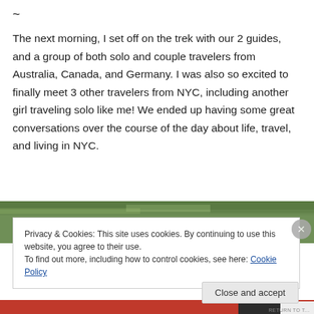~
The next morning, I set off on the trek with our 2 guides, and a group of both solo and couple travelers from Australia, Canada, and Germany. I was also so excited to finally meet 3 other travelers from NYC, including another girl traveling solo like me! We ended up having some great conversations over the course of the day about life, travel, and living in NYC.
[Figure (photo): Partial view of a nature/forest photo, mostly obscured by cookie consent banner]
Privacy & Cookies: This site uses cookies. By continuing to use this website, you agree to their use.
To find out more, including how to control cookies, see here: Cookie Policy
Close and accept